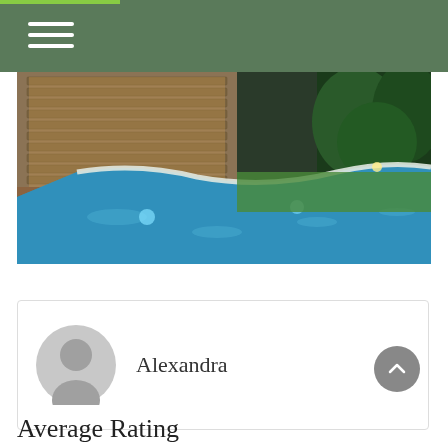[Figure (photo): Outdoor swimming pool at night with blue illuminated water, curved white tiled edge, wooden deck, louvered shutters on building facade, and lush green lawn and trees in background.]
Alexandra
Average Rating